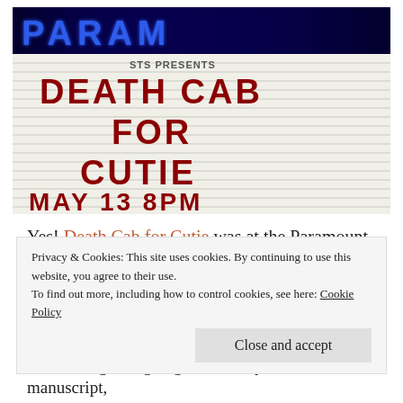[Figure (photo): Paramount Theatre marquee sign showing 'DEATH CAB FOR CUTIE MAY 13 8PM' in red letters on a white letter board, with blue and red neon 'PARAMOUNT' sign above]
Yes! Death Cab for Cutie was at the Paramount in Seattle! And I went! For Kyle's sake!
Privacy & Cookies: This site uses cookies. By continuing to use this website, you agree to their use.
To find out more, including how to control cookies, see here: Cookie Policy
Close and accept
When things are going awesomely with a manuscript,